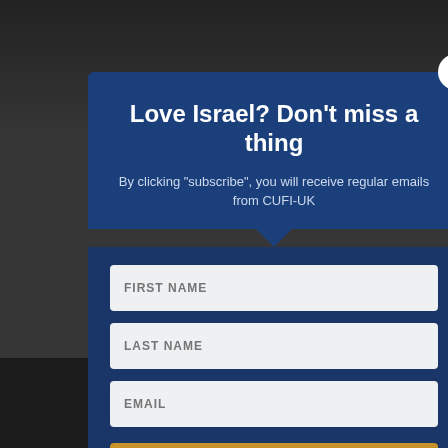[Figure (screenshot): Background webpage with dark overlay]
Love Israel? Don't miss a thing
By clicking “subscribe”, you will receive regular emails from CUFI-UK
FIRST NAME
LAST NAME
EMAIL
SUBSCRIBE!